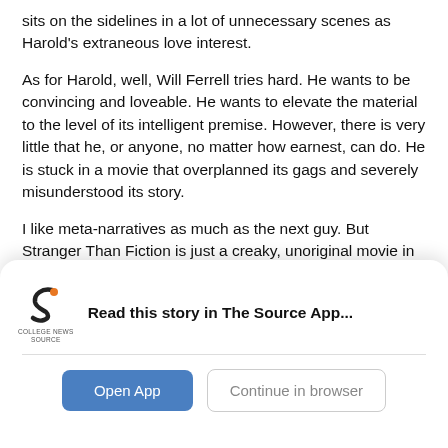sits on the sidelines in a lot of unnecessary scenes as Harold's extraneous love interest.
As for Harold, well, Will Ferrell tries hard. He wants to be convincing and loveable. He wants to elevate the material to the level of its intelligent premise. However, there is very little that he, or anyone, no matter how earnest, can do. He is stuck in a movie that overplanned its gags and severely misunderstood its story.
I like meta-narratives as much as the next guy. But Stranger Than Fiction is just a creaky, unoriginal movie in shiny post-modern packaging.
[Figure (logo): College News Source logo with stylized S shape in dark and orange colors]
Read this story in The Source App...
Open App
Continue in browser